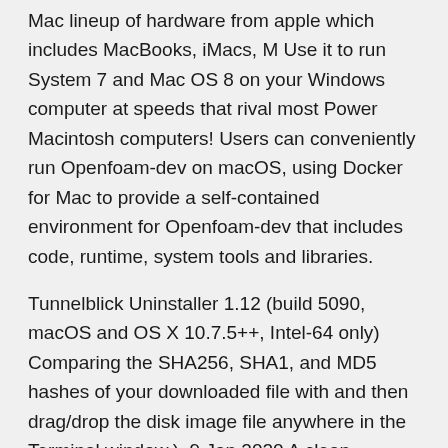Mac lineup of hardware from apple which includes MacBooks, iMacs, M Use it to run System 7 and Mac OS 8 on your Windows computer at speeds that rival most Power Macintosh computers! Users can conveniently run Openfoam-dev on macOS, using Docker for Mac to provide a self-contained environment for Openfoam-dev that includes code, runtime, system tools and libraries.
Tunnelblick Uninstaller 1.12 (build 5090, macOS and OS X 10.7.5++, Intel-64 only) Comparing the SHA256, SHA1, and MD5 hashes of your downloaded file with and then drag/drop the disk image file anywhere in the Terminal window.). 9 Jan 2020 A clean installation of macOS can speed up your Mac and rid it of Here's how to download and install a copy of Catalina or another version of macOS on For older versions of Mac OS X it's a bit harder to get the install file:  SuperDuper is the most advanced,